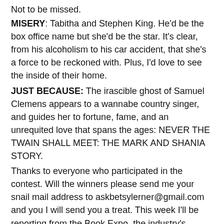Not to be missed.
MISERY: Tabitha and Stephen King. He'd be the box office name but she'd be the star. It's clear, from his alcoholism to his car accident, that she's a force to be reckoned with. Plus, I'd love to see the inside of their home.
JUST BECAUSE: The irascible ghost of Samuel Clemens appears to a wannabe country singer, and guides her to fortune, fame, and an unrequited love that spans the ages: NEVER THE TWAIN SHALL MEET: THE MARK AND SHANIA STORY.
Thanks to everyone who participated in the contest. Will the winners please send me your snail mail address to askbetsylerner@gmail.com and you I will send you a treat. This week I'll be reporting from the Book Expo, the industry's annual book trade show, the goal of which is to score hot galleys and tote bags. I'm not that great at it to be completely honest. I'm a lot of things, but a schnorer